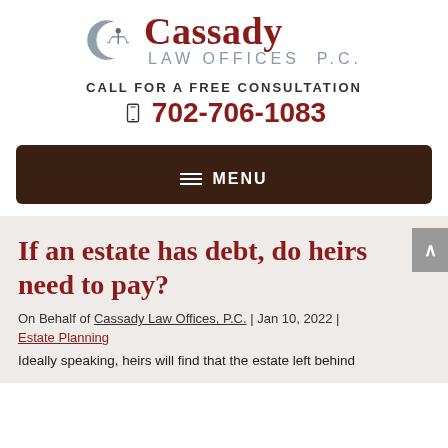[Figure (logo): Cassady Law Offices P.C. logo with crescent moon and scales of justice icon, firm name in dark red serif font, and law offices in gray spaced caps]
CALL FOR A FREE CONSULTATION
702-706-1083
≡ MENU
If an estate has debt, do heirs need to pay?
On Behalf of Cassady Law Offices, P.C. | Jan 10, 2022 | Estate Planning
Ideally speaking, heirs will find that the estate left behind